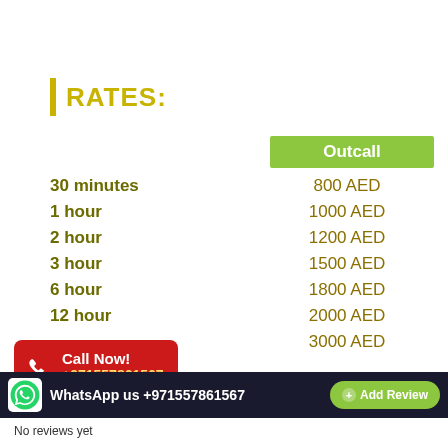RATES:
|  | Outcall |
| --- | --- |
| 30 minutes | 800 AED |
| 1 hour | 1000 AED |
| 2 hour | 1200 AED |
| 3 hour | 1500 AED |
| 6 hour | 1800 AED |
| 12 hour | 2000 AED |
|  | 3000 AED |
[Figure (other): Call Now button with phone icon and number +971557861567 on red background]
WhatsApp us +971557861567   Add Review   No reviews yet